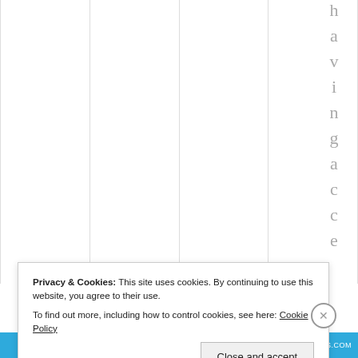[Figure (screenshot): Partial table/grid layout with vertical text letters spelling 'having acce' in gray on the right side, with column dividers visible.]
Privacy & Cookies: This site uses cookies. By continuing to use this website, you agree to their use.
To find out more, including how to control cookies, see here: Cookie Policy
Close and accept